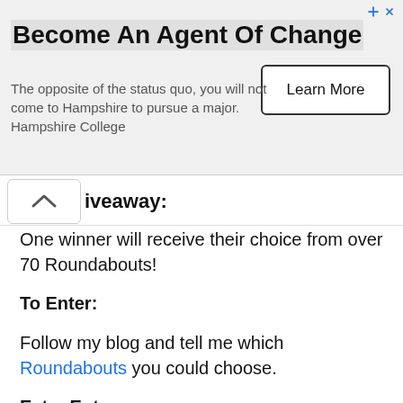[Figure (other): Advertisement banner: 'Become An Agent Of Change' with body text and Learn More button]
iveaway:
One winner will receive their choice from over 70 Roundabouts!
To Enter:
Follow my blog and tell me which Roundabouts you could choose.
Extra Entres:
Like Roundabouts on Facebook